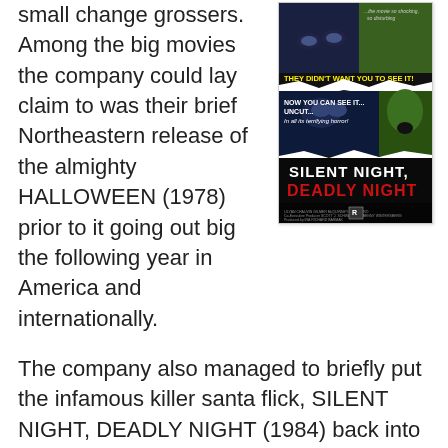small change grossers. Among the big movies the company could lay claim to was their brief Northeastern release of the almighty HALLOWEEN (1978) prior to it going out big the following year in America and internationally.
[Figure (photo): Movie poster for Silent Night, Deadly Night (1984). Black background with torn paper effect revealing horror scenes. Text reads: '...the movie so shocking, so disturbing', 'THEY DIDN'T WANT YOU TO SEE IT!', 'NOW YOU CAN SEE IT... UNCUT... In all its terrifying horror!', 'SILENT NIGHT, DEADLY NIGHT' in large title font with red and white letters. R rating logo visible at bottom.]
The company also managed to briefly put the infamous killer santa flick, SILENT NIGHT, DEADLY NIGHT (1984) back into circulation when civic protest groups figuratively set fire to it. Despite bearing an incredible ad campaign